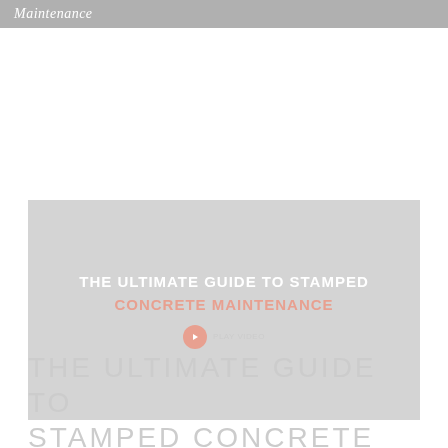Maintenance
[Figure (screenshot): Video thumbnail with dark gray background showing text 'THE ULTIMATE GUIDE TO STAMPED CONCRETE MAINTENANCE' with a play button at the bottom center.]
THE ULTIMATE GUIDE TO STAMPED CONCRETE